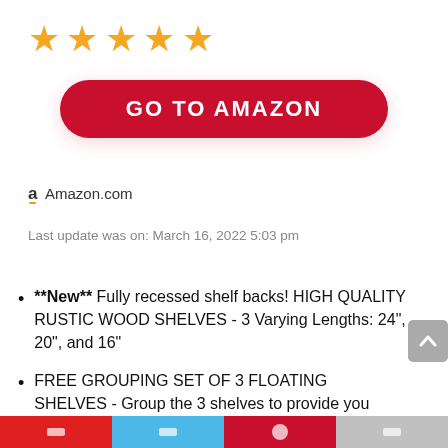[Figure (other): Five gold star rating icons in a row]
[Figure (other): Red rounded button with white bold text 'GO TO AMAZON']
Amazon.com
Last update was on: March 16, 2022 5:03 pm
**New** Fully recessed shelf backs! HIGH QUALITY RUSTIC WOOD SHELVES - 3 Varying Lengths: 24", 20", and 16"
FREE GROUPING SET OF 3 FLOATING SHELVES - Group the 3 shelves to provide you freestyle decor design and extend storage space. Perfect decor start from this wall shelves to display books,
Social share bar with icons